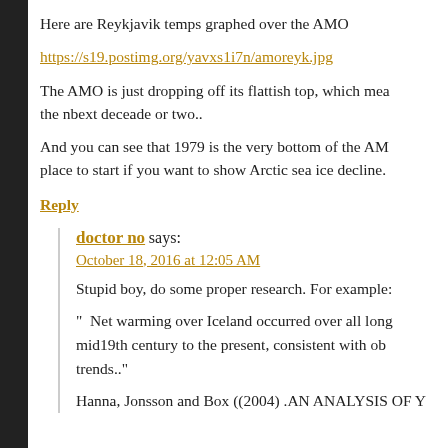Here are Reykjavik temps graphed over the AMO
https://s19.postimg.org/yavxs1i7n/amoreyk.jpg
The AMO is just dropping off its flattish top, which mea... the nbext deceade or two..
And you can see that 1979 is the very bottom of the AM... place to start if you want to show Arctic sea ice decline.
Reply
doctor no says:
October 18, 2016 at 12:05 AM
Stupid boy, do some proper research. For example:
" Net warming over Iceland occurred over all long... mid19th century to the present, consistent with ob... trends.."
Hanna, Jonsson and Box ((2004) .AN ANALYSIS OF Y